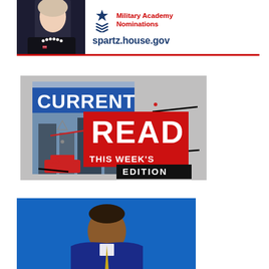[Figure (infographic): Military Academy Nominations banner with photo of a woman in black with pearl necklace on left, and text 'Military Academy Nominations' with star and chevron icon plus URL spartz.house.gov on right]
[Figure (infographic): READ THIS WEEK'S EDITION promotional banner with red background, white bold text 'READ', and black bar with 'THIS WEEK'S EDITION', overlaying a magazine cover image]
[Figure (photo): Portrait photo of a man against a blue background, cropped at bottom of page]